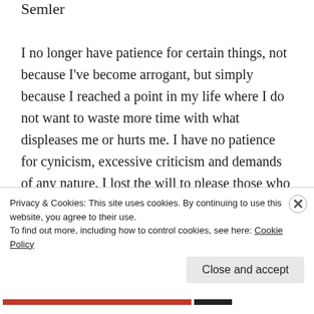Semler
I no longer have patience for certain things, not because I've become arrogant, but simply because I reached a point in my life where I do not want to waste more time with what displeases me or hurts me. I have no patience for cynicism, excessive criticism and demands of any nature. I lost the will to please those who do not like me, to love those who do not love me and to smile at those who do not want to smile at me. I no longer
Privacy & Cookies: This site uses cookies. By continuing to use this website, you agree to their use.
To find out more, including how to control cookies, see here: Cookie Policy
Close and accept